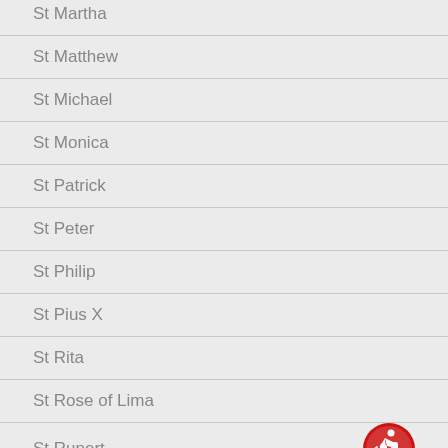St Martha
St Matthew
St Michael
St Monica
St Patrick
St Peter
St Philip
St Pius X
St Rita
St Rose of Lima
St Rupert
St Sebastian